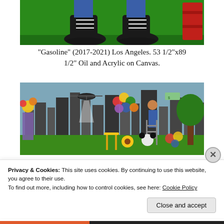[Figure (photo): Top portion of a painting showing black shoes/sneakers on green grass, with part of a red barrel visible on the right side. Dark oil-like substance visible on the ground.]
“Gasoline” (2017-2021) Los Angeles. 53 1/2”x89 1/2” Oil and Acrylic on Canvas.
[Figure (photo): A colorful painting depicting a city skyline (Los Angeles) in black and white background with colorful painted figures overlaid: a person on a ladder reaching for money, colorful balloons, a helicopter, a tree, cartoon characters, sunflowers, and various whimsical elements.]
Privacy & Cookies: This site uses cookies. By continuing to use this website, you agree to their use.
To find out more, including how to control cookies, see here: Cookie Policy
Close and accept